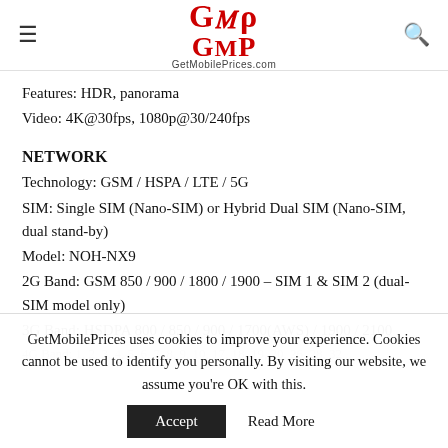GetMobilePrices.com
Features: HDR, panorama
Video: 4K@30fps, 1080p@30/240fps
NETWORK
Technology: GSM / HSPA / LTE / 5G
SIM: Single SIM (Nano-SIM) or Hybrid Dual SIM (Nano-SIM, dual stand-by)
Model: NOH-NX9
2G Band: GSM 850 / 900 / 1800 / 1900 – SIM 1 & SIM 2 (dual-SIM model only)
3G Band: HSDPA 800 / 850 / 900 / 1700(AWS) / 1900 / 2100
4G Band: 1, 2, 3, 4, 5, 6, 7, 8, 9, 10, 17, 18, 19, 20, 26, 28, 32...
GetMobilePrices uses cookies to improve your experience. Cookies cannot be used to identify you personally. By visiting our website, we assume you're OK with this.